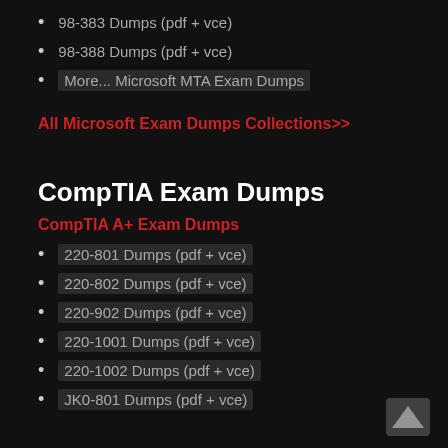98-383 Dumps (pdf + vce)
98-388 Dumps (pdf + vce)
More... Microsoft MTA Exam Dumps
All Microsoft Exam Dumps Collections>>
CompTIA Exam Dumps
CompTIA A+ Exam Dumps
220-801 Dumps (pdf + vce)
220-802 Dumps (pdf + vce)
220-902 Dumps (pdf + vce)
220-1001 Dumps (pdf + vce)
220-1002 Dumps (pdf + vce)
JK0-801 Dumps (pdf + vce)